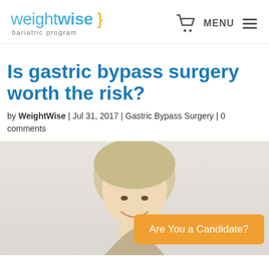weightwise bariatric program — MENU
Is gastric bypass surgery worth the risk?
by WeightWise | Jul 31, 2017 | Gastric Bypass Surgery | 0 comments
[Figure (photo): Photo of a smiling older woman with short gray/blonde hair, partially cropped; orange 'Are You a Candidate?' button overlay in lower right]
Are You a Candidate?